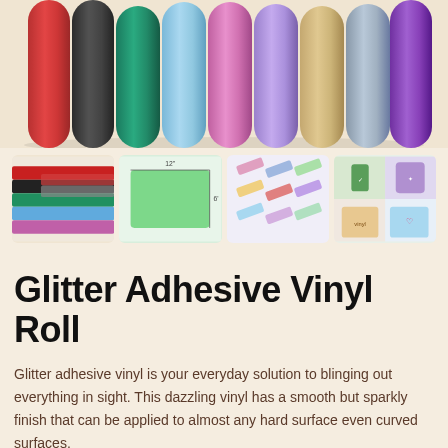[Figure (photo): Multiple colorful glitter vinyl rolls standing upright — red, black, teal, light blue, pink/rose, purple/lilac, champagne/gold, silver, and purple — displayed on a cream/beige background]
[Figure (photo): Four thumbnail images: (1) stacked colorful vinyl rolls, (2) a single green vinyl roll unrolled showing dimensions, (3) diagonal strips of various glitter vinyl colors, (4) collage of vinyl applied to phone cases and cups]
Glitter Adhesive Vinyl Roll
Glitter adhesive vinyl is your everyday solution to blinging out everything in sight. This dazzling vinyl has a smooth but sparkly finish that can be applied to almost any hard surface even curved surfaces.
Inquiry Now